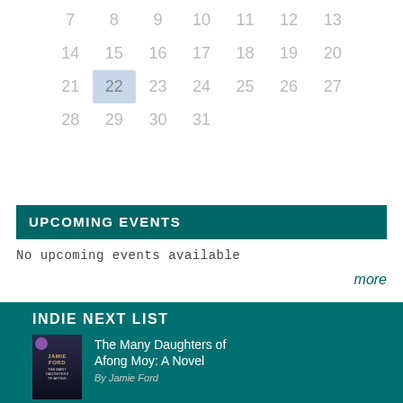| 7 | 8 | 9 | 10 | 11 | 12 | 13 |
| 14 | 15 | 16 | 17 | 18 | 19 | 20 |
| 21 | 22 | 23 | 24 | 25 | 26 | 27 |
| 28 | 29 | 30 | 31 |  |  |  |
UPCOMING EVENTS
No upcoming events available
more
INDIE NEXT LIST
The Many Daughters of Afong Moy: A Novel
By Jamie Ford